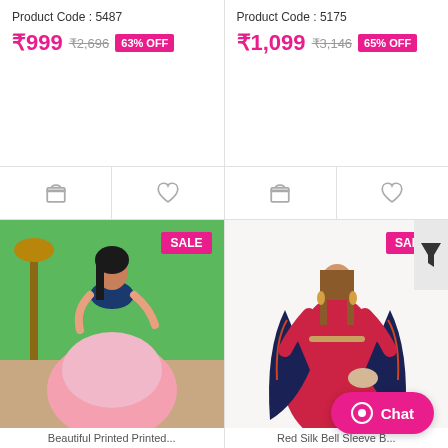Product Code : 5487
₹999  ₹2,696  63% OFF
Product Code : 5175
₹1,099  ₹3,146  65% OFF
[Figure (photo): Woman in blue crop top and pink floral lehenga skirt, SALE badge top right]
[Figure (photo): Woman in red dress with navy blue floral dupatta, SALE badge top right]
Beautiful Printed Printed...
Red Silk Bell Sleeve B...